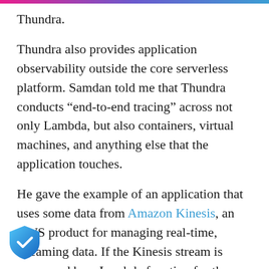Thundra.
Thundra also provides application observability outside the core serverless platform. Samdan told me that Thundra conducts “end-to-end tracing” across not only Lambda, but also containers, virtual machines, and anything else that the application touches.
He gave the example of an application that uses some data from Amazon Kinesis, an AWS product for managing real-time, streaming data. If the Kinesis stream is consumed by a Lambda function for the application, according to Samdan that transaction cannot be seen “with AWS native solutions.” But it is picked up by Thundra.